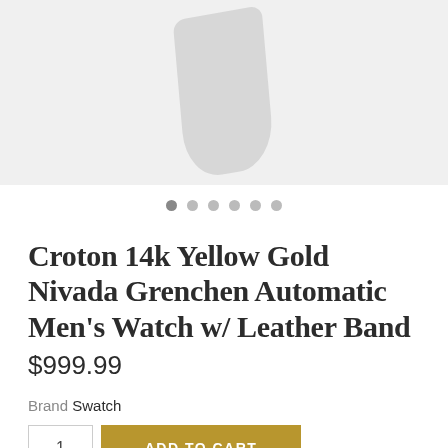[Figure (photo): Product photo of a watch with leather band on a light gray background]
Croton 14k Yellow Gold Nivada Grenchen Automatic Men's Watch w/ Leather Band
$999.99
Brand Swatch
1  ADD TO CART